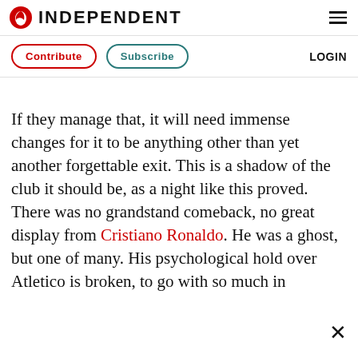INDEPENDENT
Contribute   Subscribe   LOGIN
If they manage that, it will need immense changes for it to be anything other than yet another forgettable exit. This is a shadow of the club it should be, as a night like this proved. There was no grandstand comeback, no great display from Cristiano Ronaldo. He was a ghost, but one of many. His psychological hold over Atletico is broken, to go with so much in